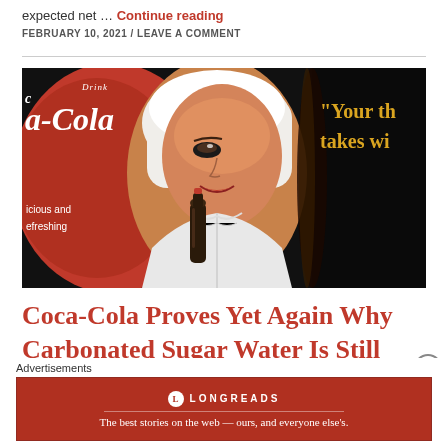expected net ... Continue reading
FEBRUARY 10, 2021 / LEAVE A COMMENT
[Figure (illustration): Vintage Coca-Cola advertisement showing a woman in a white aviator outfit holding a Coca-Cola bottle. Left side shows the Coca-Cola logo on a red circle with text 'Delicious and Refreshing'. Right side on black background shows partial text 'Your th... takes wi...' in gold/yellow serif font.]
Coca-Cola Proves Yet Again Why Carbonated Sugar Water Is Still
Advertisements
[Figure (logo): Longreads advertisement banner. Red background with Longreads logo (L in circle) and tagline: The best stories on the web — ours, and everyone else's.]